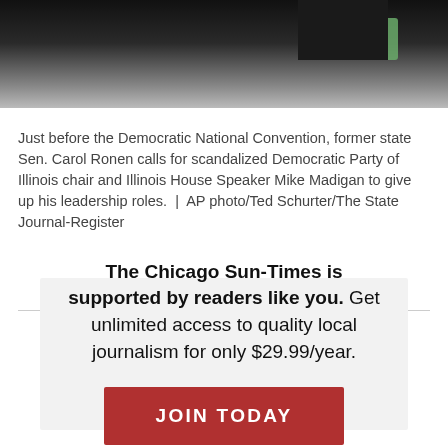[Figure (photo): Partial photo of people at an event, dark clothing, black background, green bottle visible in background.]
Just before the Democratic National Convention, former state Sen. Carol Ronen calls for scandalized Democratic Party of Illinois chair and Illinois House Speaker Mike Madigan to give up his leadership roles.  |  AP photo/Ted Schurter/The State Journal-Register
The Chicago Sun-Times is supported by readers like you. Get unlimited access to quality local journalism for only $29.99/year.
JOIN TODAY